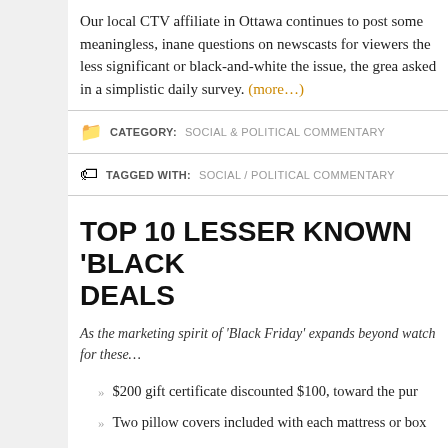Our local CTV affiliate in Ottawa continues to post some meaningless, inane questions on newscasts for viewers the less significant or black-and-white the issue, the grea asked in a simplistic daily survey. (more…)
CATEGORY: SOCIAL & POLITICAL COMMENTARY
TAGGED WITH: SOCIAL / POLITICAL COMMENTARY
TOP 10 LESSER KNOWN 'BLACK DEALS
As the marketing spirit of 'Black Friday' expands beyond watch for these…
$200 gift certificate discounted $100, toward the pur
Two pillow covers included with each mattress or box